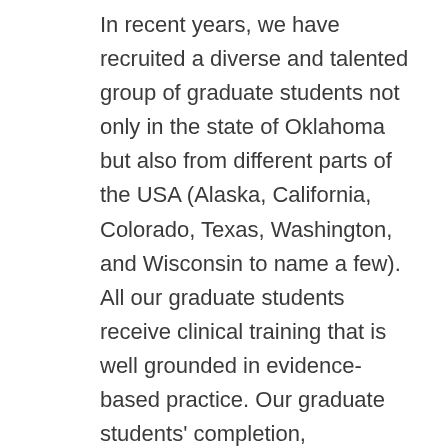In recent years, we have recruited a diverse and talented group of graduate students not only in the state of Oklahoma but also from different parts of the USA (Alaska, California, Colorado, Texas, Washington, and Wisconsin to name a few). All our graduate students receive clinical training that is well grounded in evidence-based practice. Our graduate students' completion, employment, and Praxis exam pass rates have averaged more than 95% in the past four years. In addition to the generous Tuition Waivers and Assistantships that some of our students receive during their first year, we also offer multiple scholarships every year. Of late, we have had a steady increase in the number of students wanting to pursue a thesis option. We have also recruited new faculty whose research covers different clinical and basic areas of speech, language, and hearing sciences. The low student